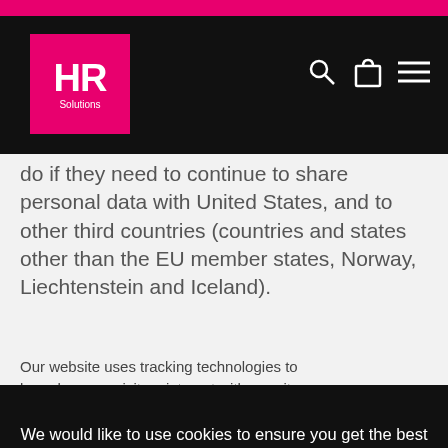[Figure (logo): HR Solutions logo — pink square with white HR text and Solutions subtitle]
do if they need to continue to share personal data with United States, and to other third countries (countries and states other than the EU member states, Norway, Liechtenstein and Iceland).
Fundamental rights of data
Our website uses tracking technologies to learn how our visitors interact with our site so
We would like to use cookies to ensure you get the best experience on our website. If you consent to us using cookies, please click 'Allow Cookies'